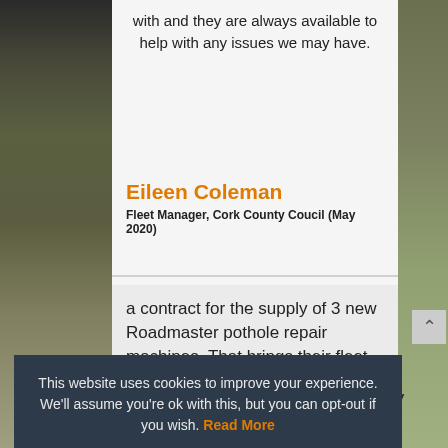with and they are always available to help with any issues we may have.
Eileen Coleman
Fleet Manager, Cork County Coucil (May 2020)
a contract for the supply of 3 new Roadmaster pothole repair machines. That brings their fleet to an impressive 20
achinery
way or
This website uses cookies to improve your experience. We'll assume you're ok with this, but you can opt-out if you wish. Read More
Cookie settings
ACCEPT